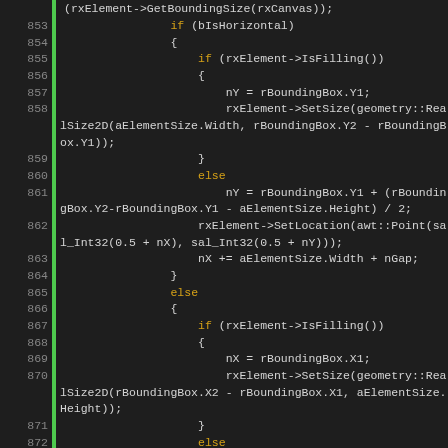[Figure (screenshot): Source code listing in a dark IDE/editor theme showing C++ code lines 852-874, with line numbers on the left, a green gutter bar, keywords in orange, and code in light gray on dark background.]